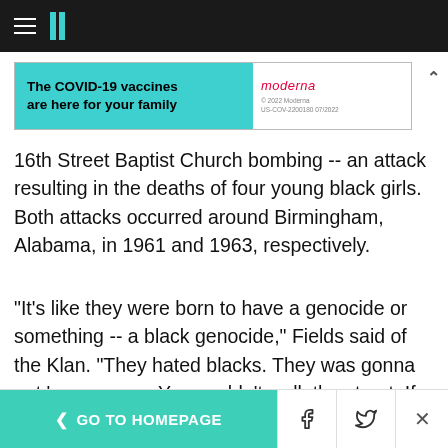HuffPost navigation bar with hamburger menu and logo
[Figure (screenshot): Moderna COVID-19 vaccine advertisement banner: teal section with bold text 'The COVID-19 vaccines are here for your family', white section with Moderna logo in red and fine print '© 2022 Moderna US-COV-2200180 07/2022']
16th Street Baptist Church bombing -- an attack resulting in the deaths of four young black girls. Both attacks occurred around Birmingham, Alabama, in 1961 and 1963, respectively.
"It's like they were born to have a genocide or something -- a black genocide," Fields said of the Klan. "They hated blacks. They was gonna get 'em anyway. You couldn't walk the street. If they could get you, they would hurt you."
< GO TO HOMEPAGE  [Facebook] [Twitter] [X]